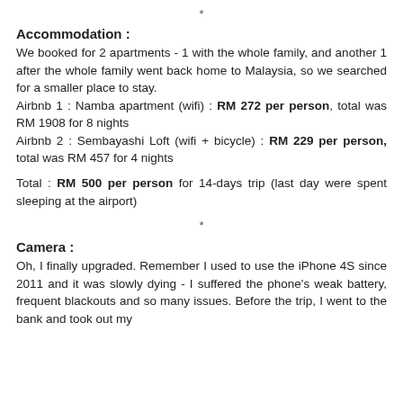*
Accommodation :
We booked for 2 apartments - 1 with the whole family, and another 1 after the whole family went back home to Malaysia, so we searched for a smaller place to stay.
Airbnb 1 : Namba apartment (wifi) : RM 272 per person, total was RM 1908 for 8 nights
Airbnb 2 : Sembayashi Loft (wifi + bicycle) : RM 229 per person, total was RM 457 for 4 nights
Total : RM 500 per person for 14-days trip (last day were spent sleeping at the airport)
*
Camera :
Oh, I finally upgraded. Remember I used to use the iPhone 4S since 2011 and it was slowly dying - I suffered the phone's weak battery, frequent blackouts and so many issues. Before the trip, I went to the bank and took out my